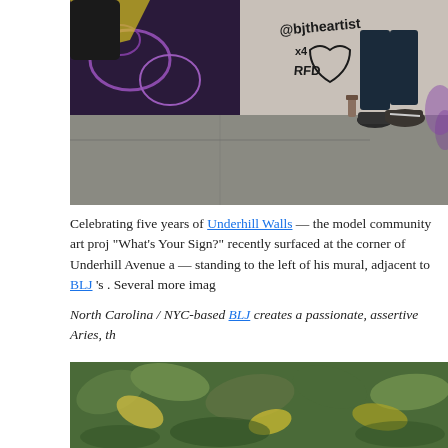[Figure (photo): A person crouching near a graffiti mural wall, holding a spray can. The mural features purple and yellow colors with the text '@bjtheartist' visible. The person is wearing sneakers and dark jeans on a sidewalk.]
Celebrating five years of Underhill Walls — the model community art proj... "What's Your Sign?" recently surfaced at the corner of Underhill Avenue a... — standing to the left of his mural, adjacent to BLJ 's . Several more imag...
North Carolina / NYC-based BLJ creates a passionate, assertive Aries, th...
[Figure (photo): Close-up photo of green and yellow leaves, likely foliage from a plant or bush.]